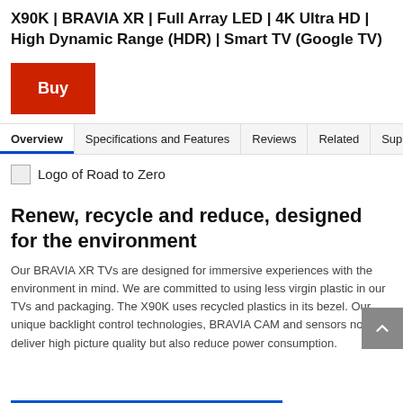X90K | BRAVIA XR | Full Array LED | 4K Ultra HD | High Dynamic Range (HDR) | Smart TV (Google TV)
Buy
Overview · Specifications and Features · Reviews · Related · Support
[Figure (logo): Small broken image placeholder followed by text: Logo of Road to Zero]
Renew, recycle and reduce, designed for the environment
Our BRAVIA XR TVs are designed for immersive experiences with the environment in mind. We are committed to using less virgin plastic in our TVs and packaging. The X90K uses recycled plastics in its bezel. Our unique backlight control technologies, BRAVIA CAM and sensors not only deliver high picture quality but also reduce power consumption.